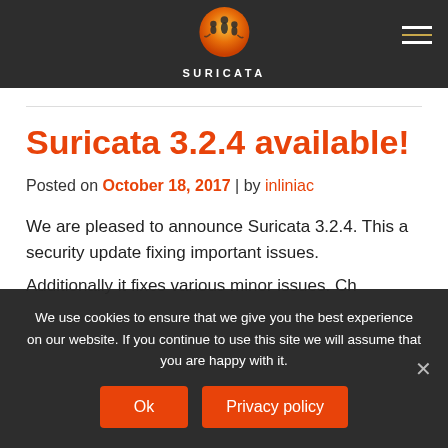[Figure (logo): Suricata logo: orange/gradient sun circle with meerkat silhouettes, white text SURICATA below]
Suricata 3.2.4 available!
Posted on October 18, 2017 | by inliniac
We are pleased to announce Suricata 3.2.4. This a security update fixing important issues.
Additionally it fixes various minor issues. Ch...
We use cookies to ensure that we give you the best experience on our website. If you continue to use this site we will assume that you are happy with it.